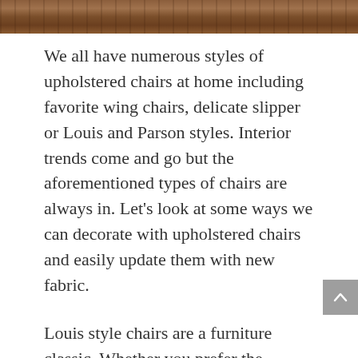[Figure (photo): Partial view of a wooden chair or furniture piece, showing warm brown wood tones, cropped at the top of the page.]
We all have numerous styles of upholstered chairs at home including favorite wing chairs, delicate slipper or Louis and Parson styles. Interior trends come and go but the aforementioned types of chairs are always in. Let’s look at some ways we can decorate with upholstered chairs and easily update them with new fabric.
Louis style chairs are a furniture classic. Whether you prefer the curved, cabriole legs or straight, classical lines, Louis XV and XVI style chairs effortlessly make